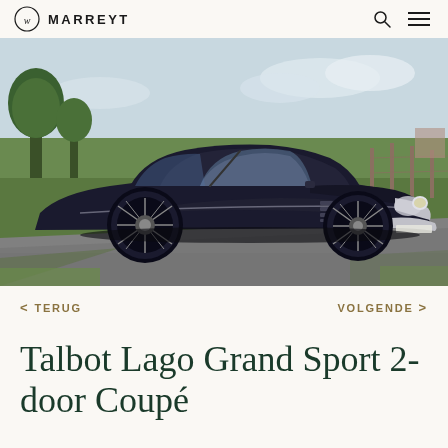MARREYT
[Figure (photo): A dark navy/black vintage Talbot Lago Grand Sport 2-door Coupé parked on a road with green fields and trees in the background. The car has classic 1950s styling with wire wheels, chrome bumpers, and a sleek fastback roofline.]
< TERUG    VOLGENDE >
Talbot Lago Grand Sport 2-door Coupé